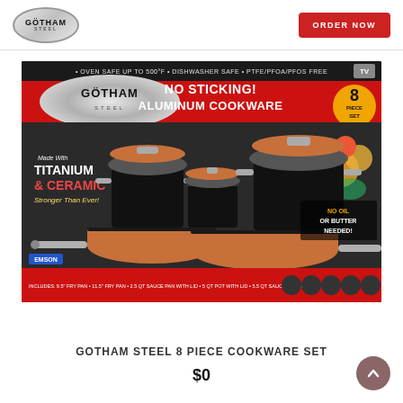Gotham Steel — ORDER NOW
[Figure (photo): Gotham Steel 8-piece cookware set product box showing pans and pots with copper-colored non-stick interior. Box reads: NO STICKING! ALUMINUM COOKWARE, 8 PIECE SET, Made With TITANIUM & CERAMIC, Stronger Than Ever!, NO OIL OR BUTTER NEEDED!, OVEN SAFE UP TO 500F, DISHWASHER SAFE, PTFE PFOA PFOS FREE.]
GOTHAM STEEL 8 PIECE COOKWARE SET
$0